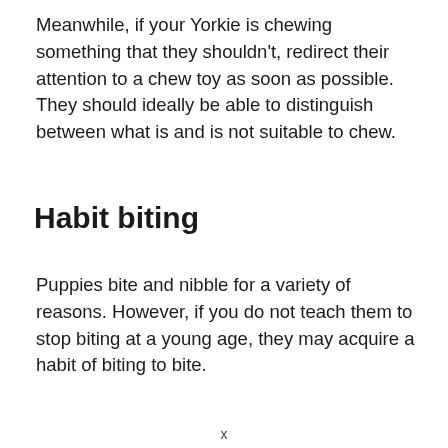Meanwhile, if your Yorkie is chewing something that they shouldn't, redirect their attention to a chew toy as soon as possible. They should ideally be able to distinguish between what is and is not suitable to chew.
Habit biting
Puppies bite and nibble for a variety of reasons. However, if you do not teach them to stop biting at a young age, they may acquire a habit of biting to bite.
x